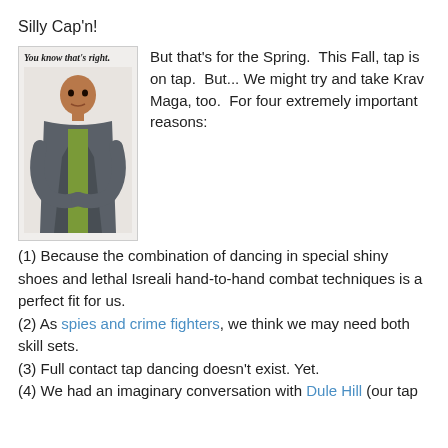Silly Cap'n!
[Figure (photo): A man in a grey blazer and green shirt with arms crossed, with text 'You know that's right.' above him]
But that's for the Spring.  This Fall, tap is on tap.  But... We might try and take Krav Maga, too.  For four extremely important reasons:
(1) Because the combination of dancing in special shiny shoes and lethal Isreali hand-to-hand combat techniques is a perfect fit for us.
(2) As spies and crime fighters, we think we may need both skill sets.
(3) Full contact tap dancing doesn't exist. Yet.
(4) We had an imaginary conversation with Dule Hill (our tap